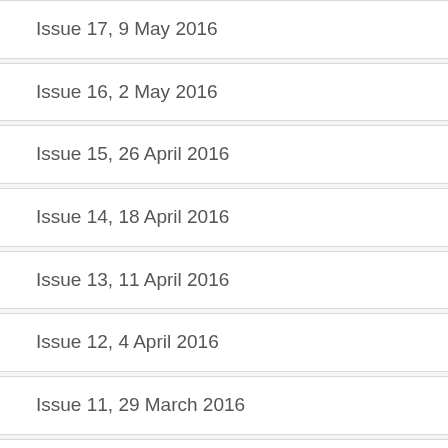Issue 17, 9 May 2016
Issue 16, 2 May 2016
Issue 15, 26 April 2016
Issue 14, 18 April 2016
Issue 13, 11 April 2016
Issue 12, 4 April 2016
Issue 11, 29 March 2016
Issue 10, 21 March 2016
Issue 9, 14 March 2016